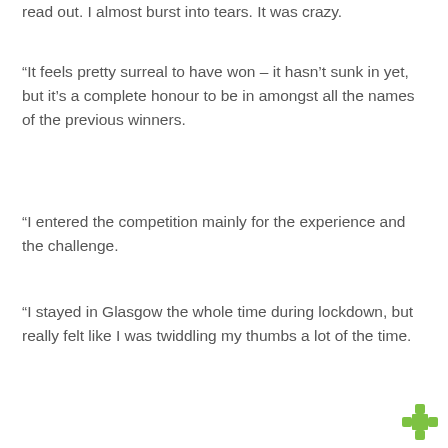read out. I almost burst into tears. It was crazy.
“It feels pretty surreal to have won – it hasn’t sunk in yet, but it’s a complete honour to be in amongst all the names of the previous winners.
“I entered the competition mainly for the experience and the challenge.
“I stayed in Glasgow the whole time during lockdown, but really felt like I was twiddling my thumbs a lot of the time.
[Figure (logo): Green cross/star logo in the bottom right corner]